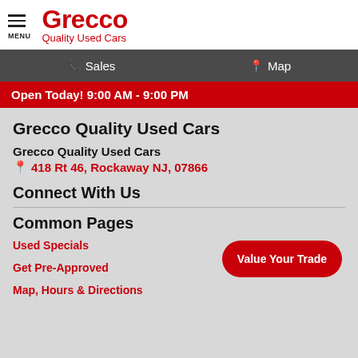MENU — Grecco Quality Used Cars
Sales   Map
Open Today! 9:00 AM - 9:00 PM
Grecco Quality Used Cars
Grecco Quality Used Cars
418 Rt 46, Rockaway NJ, 07866
Connect With Us
Common Pages
Used Specials
Get Pre-Approved
Map, Hours & Directions
Value Your Trade